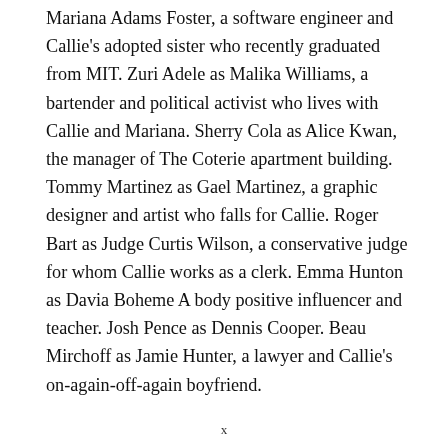Mariana Adams Foster, a software engineer and Callie's adopted sister who recently graduated from MIT. Zuri Adele as Malika Williams, a bartender and political activist who lives with Callie and Mariana. Sherry Cola as Alice Kwan, the manager of The Coterie apartment building. Tommy Martinez as Gael Martinez, a graphic designer and artist who falls for Callie. Roger Bart as Judge Curtis Wilson, a conservative judge for whom Callie works as a clerk. Emma Hunton as Davia Boheme A body positive influencer and teacher. Josh Pence as Dennis Cooper. Beau Mirchoff as Jamie Hunter, a lawyer and Callie's on-again-off-again boyfriend.
x